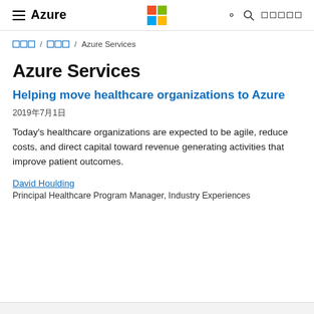Azure — Microsoft logo — search — nav icons
□□□ / □□□ / Azure Services
Azure Services
Helping move healthcare organizations to Azure
2019年7月1日
Today's healthcare organizations are expected to be agile, reduce costs, and direct capital toward revenue generating activities that improve patient outcomes.
David Houlding
Principal Healthcare Program Manager, Industry Experiences